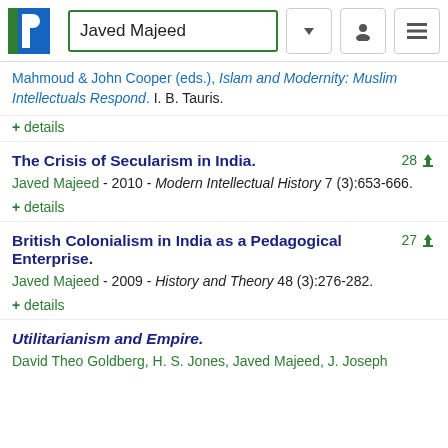Javed Majeed
Mahmoud & John Cooper (eds.), Islam and Modernity: Muslim Intellectuals Respond. I. B. Tauris.
+ details
The Crisis of Secularism in India.
Javed Majeed - 2010 - Modern Intellectual History 7 (3):653-666.
+ details
British Colonialism in India as a Pedagogical Enterprise.
Javed Majeed - 2009 - History and Theory 48 (3):276-282.
+ details
Utilitarianism and Empire.
David Theo Goldberg, H. S. Jones, Javed Majeed, J. Joseph